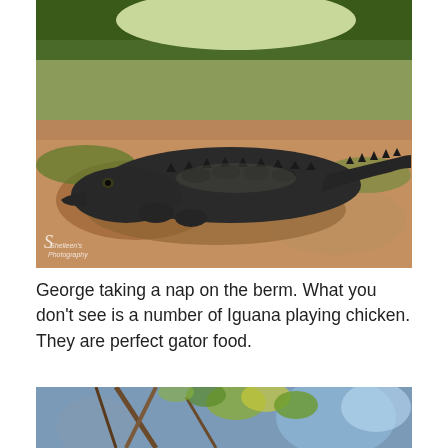[Figure (photo): An alligator (named George) lying on a sandy/dirt berm, with green grass and vegetation in the background. The alligator is dark gray/black and facing left. A watermark/logo is visible in the bottom left corner of the photo.]
George taking a nap on the berm. What you don't see is a number of Iguana playing chicken. They are perfect gator food.
[Figure (photo): Partial photo at the bottom of the page showing blurred branches/sticks and green/yellow foliage with a blue bokeh background.]